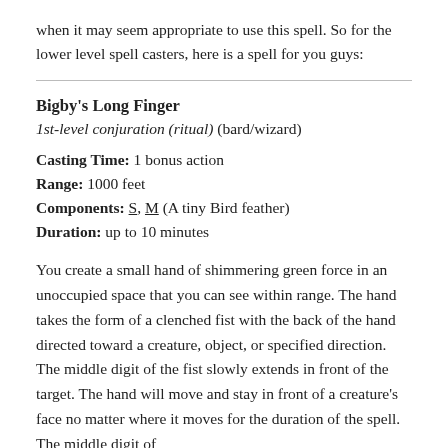when it may seem appropriate to use this spell.  So for the lower level spell casters, here is a spell for you guys:
Bigby's Long Finger
1st-level conjuration (ritual) (bard/wizard)
Casting Time: 1 bonus action
Range: 1000 feet
Components: S, M (A tiny Bird feather)
Duration: up to 10 minutes
You create a small hand of shimmering green force in an unoccupied space that you can see within range. The hand takes the form of a clenched fist with the back of the hand directed toward a creature, object, or specified direction.  The middle digit of the fist slowly extends in front of the target. The hand will move and stay in front of a creature's face no matter where it moves for the duration of the spell. The middle digit of